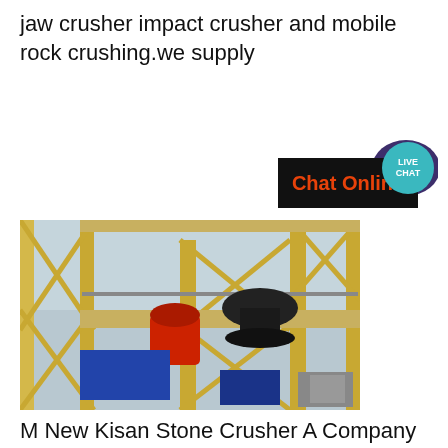jaw crusher impact crusher and mobile rock crushing.we supply
[Figure (photo): Large industrial stone crushing plant with yellow steel frame structure, conveyor belts, and crushing machinery including a cone crusher on elevated platform]
M New Kisan Stone Crusher A Company
Sri Vinayaka Stone Crushers Llp Company. Being a client centric company New S.S. Traders Co. is manufacturing trading and supplying a desirable range of products that